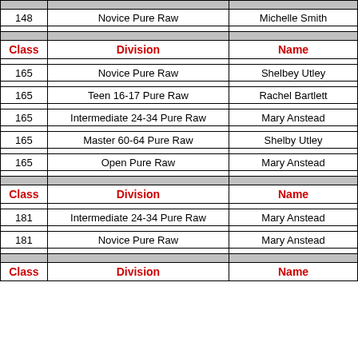| Class | Division | Name |
| --- | --- | --- |
| 148 | Novice Pure Raw | Michelle Smith |
| Class | Division | Name |
| 165 | Novice Pure Raw | Shelbey Utley |
| 165 | Teen 16-17 Pure Raw | Rachel Bartlett |
| 165 | Intermediate 24-34 Pure Raw | Mary Anstead |
| 165 | Master 60-64 Pure Raw | Shelby Utley |
| 165 | Open Pure Raw | Mary Anstead |
| Class | Division | Name |
| 181 | Intermediate 24-34 Pure Raw | Mary Anstead |
| 181 | Novice Pure Raw | Mary Anstead |
| Class | Division | Name |